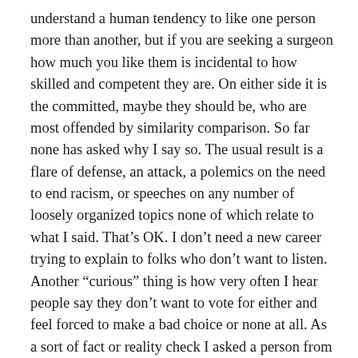understand a human tendency to like one person more than another, but if you are seeking a surgeon how much you like them is incidental to how skilled and competent they are. On either side it is the committed, maybe they should be, who are most offended by similarity comparison. So far none has asked why I say so. The usual result is a flare of defense, an attack, a polemics on the need to end racism, or speeches on any number of loosely organized topics none of which relate to what I said. That's OK. I don't need a new career trying to explain to folks who don't want to listen. Another “curious” thing is how very often I hear people say they don't want to vote for either and feel forced to make a bad choice or none at all. As a sort of fact or reality check I asked a person from a European country struggling with its own economic and immigration concerns what they thought of our political choices. The answer was not what I expected. “Why do you want to elect a crook? One is one kind of crook and the other is another kind; both crooks.”